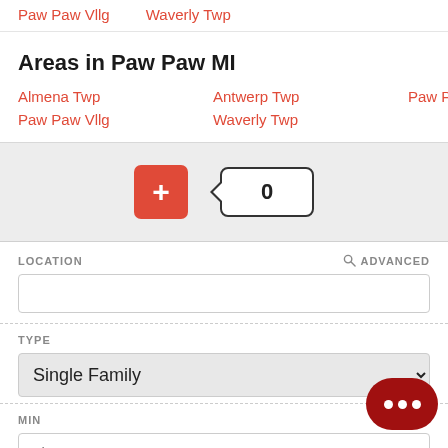Paw Paw Vllg    Waverly Twp
Areas in Paw Paw MI
Almena Twp    Antwerp Twp    Paw Paw Twp
Paw Paw Vllg    Waverly Twp
[Figure (screenshot): Toolbar with a red plus button and a counter badge showing 0]
LOCATION    ADVANCED
[Figure (screenshot): Location input text field (empty)]
TYPE
[Figure (screenshot): Type dropdown showing Single Family selected]
MIN
[Figure (screenshot): Min price input field with placeholder Min]
MAX